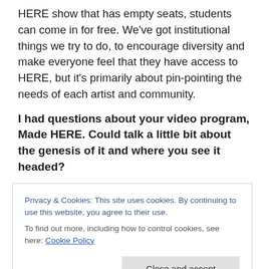HERE show that has empty seats, students can come in for free. We've got institutional things we try to do, to encourage diversity and make everyone feel that they have access to HERE, but it's primarily about pin-pointing the needs of each artist and community.
I had questions about your video program, Made HERE. Could talk a little bit about the genesis of it and where you see it headed?
Yeah, it grew out of HARP directly. We're a small organization and we felt that we could only serve the
keeping it.